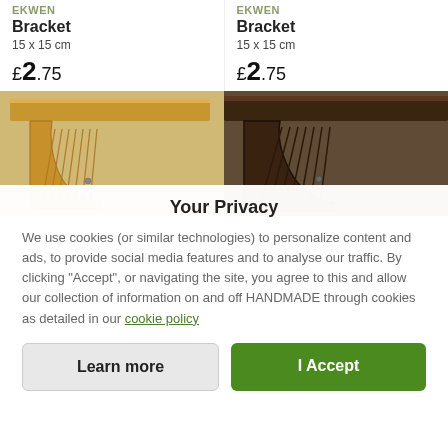EKWEN
Bracket
15 x 15 cm
£2.75
EKWEN
Bracket
15 x 15 cm
£2.75
[Figure (photo): Light wood bracket shelf bracket, natural pine color with ribbed decorative underside]
[Figure (photo): Dark wood bracket shelf bracket, dark walnut stained with ribbed decorative underside]
Your Privacy
We use cookies (or similar technologies) to personalize content and ads, to provide social media features and to analyse our traffic. By clicking "Accept", or navigating the site, you agree to this and allow our collection of information on and off HANDMADE through cookies as detailed in our cookie policy
Learn more
I Accept